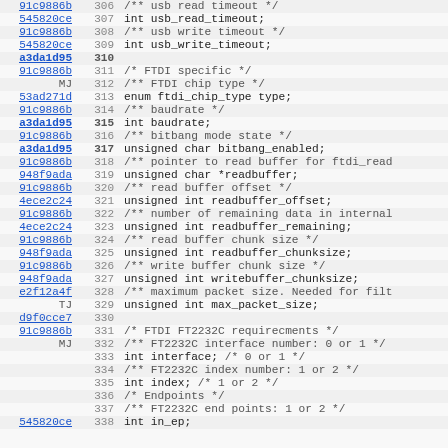Source code listing with git blame annotations, lines 306-338, showing FTDI USB driver struct fields including usb timeouts, FTDI chip type, baudrate, bitbang mode, read/write buffer settings, and FT2232C interface/endpoint declarations.